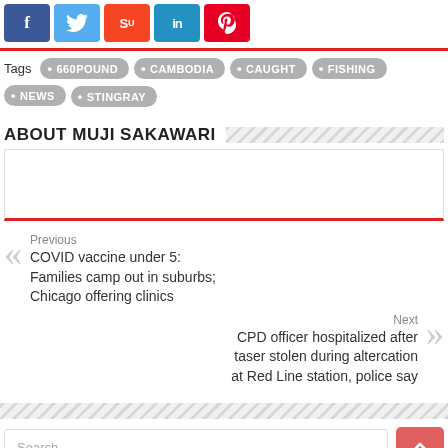[Figure (other): Social share buttons: Facebook (blue), Twitter (light blue), StumbleUpon (red), LinkedIn (blue), Pinterest (red)]
Tags • 660POUND • CAMBODIA • CAUGHT • FISHING • NEWS • STINGRAY
ABOUT MUJI SAKAWARI
Previous
COVID vaccine under 5: Families camp out in suburbs; Chicago offering clinics
Next
CPD officer hospitalized after taser stolen during altercation at Red Line station, police say
Search …